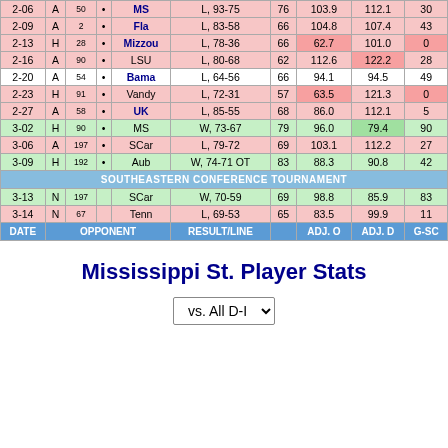| DATE | H/A | RNK |  | OPPONENT | RESULT/LINE |  | ADJ. O | ADJ. D | G-SC |
| --- | --- | --- | --- | --- | --- | --- | --- | --- | --- |
| 2-06 | A | 50 | • | MS | L, 93-75 | 76 | 103.9 | 112.1 | 30 |
| 2-09 | A | 2 | • | Fla | L, 83-58 | 66 | 104.8 | 107.4 | 43 |
| 2-13 | H | 28 | • | Mizzou | L, 78-36 | 66 | 62.7 | 101.0 | 0 |
| 2-16 | A | 90 | • | LSU | L, 80-68 | 62 | 112.6 | 122.2 | 28 |
| 2-20 | A | 54 | • | Bama | L, 64-56 | 66 | 94.1 | 94.5 | 49 |
| 2-23 | H | 91 | • | Vandy | L, 72-31 | 57 | 63.5 | 121.3 | 0 |
| 2-27 | A | 58 | • | UK | L, 85-55 | 68 | 86.0 | 112.1 | 5 |
| 3-02 | H | 90 | • | MS | W, 73-67 | 79 | 96.0 | 79.4 | 90 |
| 3-06 | A | 197 | • | SCar | L, 79-72 | 69 | 103.1 | 112.2 | 27 |
| 3-09 | H | 192 | • | Aub | W, 74-71 OT | 83 | 88.3 | 90.8 | 42 |
| SOUTHEASTERN CONFERENCE TOURNAMENT |
| 3-13 | N | 197 |  | SCar | W, 70-59 | 69 | 98.8 | 85.9 | 83 |
| 3-14 | N | 67 |  | Tenn | L, 69-53 | 65 | 83.5 | 99.9 | 11 |
Mississippi St. Player Stats
vs. All D-I (dropdown)